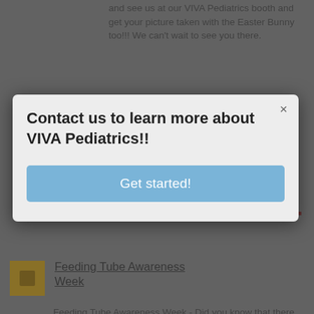and see us at our VIVA Pediatrics booth and get your picture taken with the Easter Bunny too!!! We can't wait to see you there.
[Figure (screenshot): Modal dialog overlay on a webpage with text 'Contact us to learn more about VIVA Pediatrics!!' and a blue 'Get started!' button, with an X close button in top right]
[Figure (screenshot): Feeding Tube Awareness Week banner image with title text, date February 5-9, 2011, website URL www.feedingtubeawareness.org, and a dark red bar]
Feeding Tube Awareness Week
Feeding Tube Awareness Week - Did you know that there are over 300 conditions a child could have that would necessitate a feeding tube in order for the child to receive